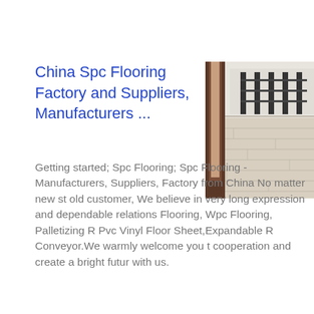China Spc Flooring Factory and Suppliers, Manufacturers ...
[Figure (photo): Interior room with light wood-look SPC flooring, a dark door frame on the left, and dark metal shelving or equipment visible in the background.]
Getting started; Spc Flooring; Spc Flooring - Manufacturers, Suppliers, Factory from China No matter new st... old customer, We believe in very long... expression and dependable relations... Flooring, Wpc Flooring, Palletizing R... Pvc Vinyl Floor Sheet,Expandable R... Conveyor.We warmly welcome you t... cooperation and create a bright futur... with us.